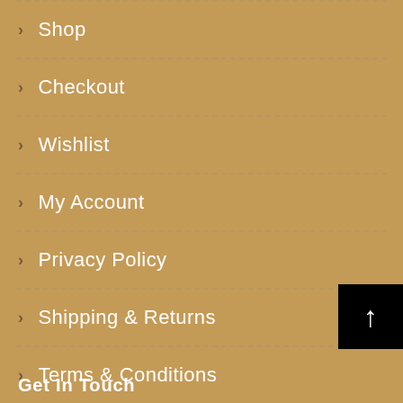Shop
Checkout
Wishlist
My Account
Privacy Policy
Shipping & Returns
Terms & Conditions
Get In Touch